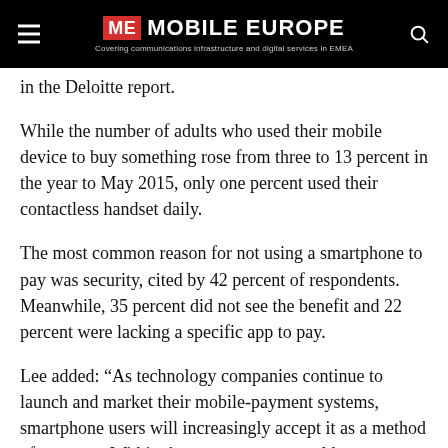MOBILE EUROPE — Covering communications infrastructure and digital services in EMEA
in the Deloitte report.
While the number of adults who used their mobile device to buy something rose from three to 13 percent in the year to May 2015, only one percent used their contactless handset daily.
The most common reason for not using a smartphone to pay was security, cited by 42 percent of respondents. Meanwhile, 35 percent did not see the benefit and 22 percent were lacking a specific app to pay.
Lee added: “As technology companies continue to launch and market their mobile-payment systems, smartphone users will increasingly accept it as a method of payment. Within the next year, we would expect around 10 percent